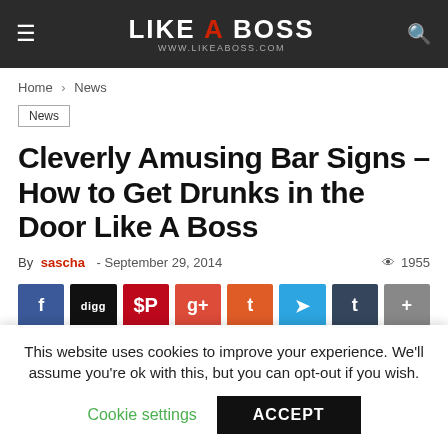LIKE A BOSS — www.likeaboss.com
Home › News
News
Cleverly Amusing Bar Signs – How to Get Drunks in the Door Like A Boss
By sascha - September 29, 2014  1955
[Figure (other): Social sharing buttons row: Facebook, Digg, Pinterest, Google+, Flipboard, Telegram, Tumblr, Add]
This website uses cookies to improve your experience. We'll assume you're ok with this, but you can opt-out if you wish.
Cookie settings   ACCEPT